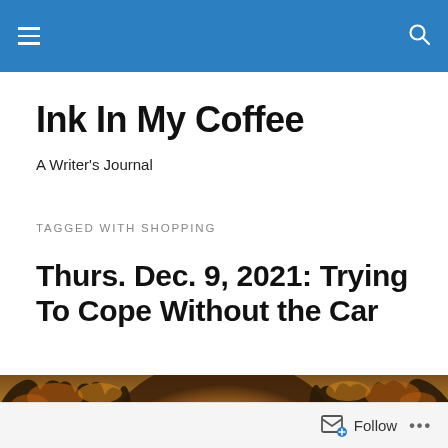Ink In My Coffee — navigation header bar with hamburger menu and search icon
Ink In My Coffee
A Writer's Journal
TAGGED WITH SHOPPING
Thurs. Dec. 9, 2021: Trying To Cope Without the Car
[Figure (photo): Autumn forest path with golden foliage and sunlight filtering through trees]
Follow  •••